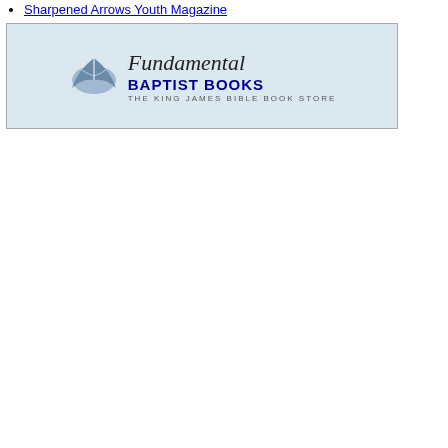Sharpened Arrows Youth Magazine
[Figure (logo): Fundamental Baptist Books - The King James Bible Book Store logo with open book graphic]
| # | Site | In | Out |
| --- | --- | --- | --- |
| 34 | The Bible-Believing Fundamentalist - Daily audio Bible studies, sermon outlines, books | 23 | 19 |
| 35 | Pleasant View Baptist Church | 19 | 16 |
| 36 | Heritage Baptist Church, Jefferson, TX | 18 | 10 |
| 37 | Central Baptist Church of Ocala Florida | 18 | 33 |
| 38 | Northside Baptist Church - Pembroke, GA | 18 | 19 |
| 39 | LIBERTY BAPTIST CHURCH - HEAR FUNDAMENTAL PREACHING!! ◆◆◆◆◆◆BOWDON, GA. | 17 | 47 |
| 40 | Common Sense for Today | 16 | 25 |
| 41 | IFB Sermons! | 16 | 0 |
| 42 | Revival Baptist Church (With Prophesy Watch) | 16 | 7 |
| 43 | Heritage Baptist Church - Humble, Texas | 16 | 8 |
| 44 | Haven of Rest - IFB Ladies Message Board | 15 | 13 |
| 45 | God Loves People | 15 | 56 |
| 46 | Estudos Biblicos Palavra Prudente - Bible Studies in Portuguese | 14 | 13 |
| 47 | Johnny The Baptist - This site proclaims the Gospel like it use to be in Revivals and Campmeetings with audio and written sermons preaching Bible doctrine from | 14 | 8 |